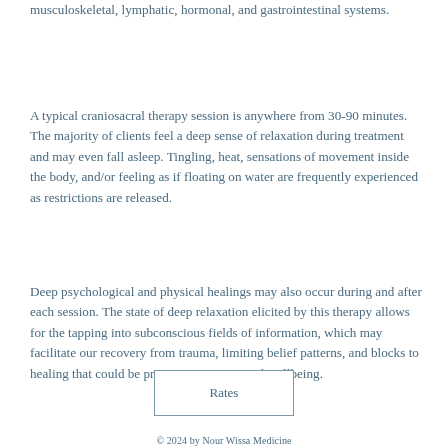musculoskeletal, lymphatic, hormonal, and gastrointestinal systems.
A typical craniosacral therapy session is anywhere from 30-90 minutes. The majority of clients feel a deep sense of relaxation during treatment and may even fall asleep. Tingling, heat, sensations of movement inside the body, and/or feeling as if floating on water are frequently experienced as restrictions are released.
Deep psychological and physical healings may also occur during and after each session. The state of deep relaxation elicited by this therapy allows for the tapping into subconscious fields of information, which may facilitate our recovery from trauma, limiting belief patterns, and blocks to healing that could be preventing our optimal wellbeing.
Rates
© 2024 by Nour Wissa Medicine